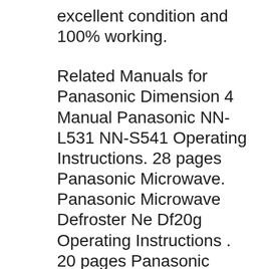excellent condition and 100% working.
Related Manuals for Panasonic Dimension 4 Manual Panasonic NN-L531 NN-S541 Operating Instructions. 28 pages Panasonic Microwave. Panasonic Microwave Defroster Ne Df20g Operating Instructions . 20 pages Panasonic Microwave. All Panasonic manuals panasonic dimension 4 genius manual, loose particles, dust, wrinkles, voids, and. In Europe, call the appropriate number panasonic dimension 4 genius manual Austria 0222 58 58 485 France 353 1 704 90 00 Germany 0180 531 31 64 Switzerland 0848 80 10 11 following topics Specifications FCC compliance